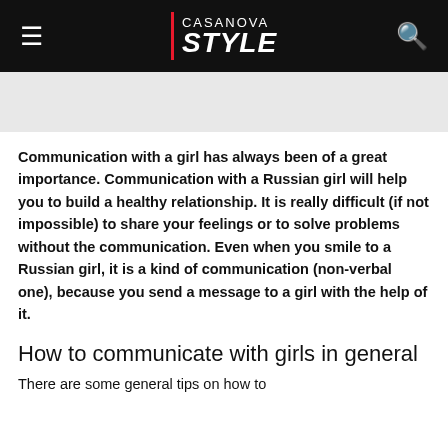CASANOVA STYLE
[Figure (other): Advertisement banner placeholder (gray rectangle)]
Communication with a girl has always been of a great importance. Communication with a Russian girl will help you to build a healthy relationship. It is really difficult (if not impossible) to share your feelings or to solve problems without the communication. Even when you smile to a Russian girl, it is a kind of communication (non-verbal one), because you send a message to a girl with the help of it.
How to communicate with girls in general
There are some general tips on how to